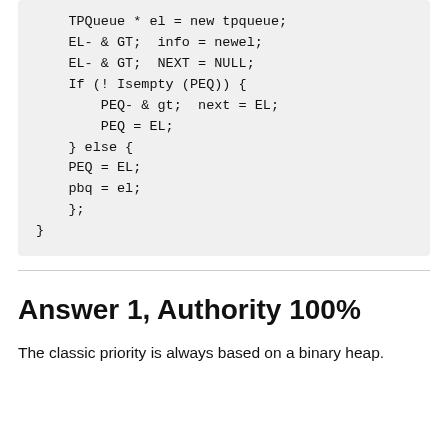TPQueue * el = new tpqueue;
    EL- & GT; info = newel;
    EL- & GT; NEXT = NULL;
    If (! Isempty (PEQ)) {
        PEQ- & gt; next = EL;
        PEQ = EL;
    } else {
    PEQ = EL;
    pbq = el;
    };
}
Answer 1, Authority 100%
The classic priority is always based on a binary heap.